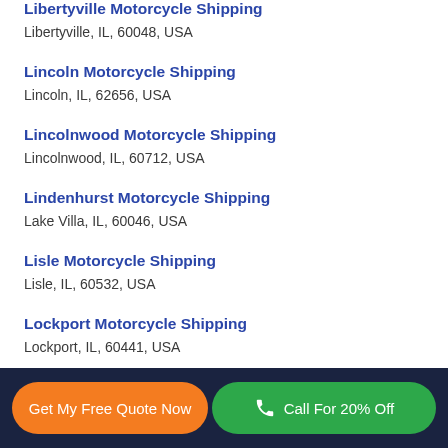Libertyville Motorcycle Shipping
Libertyville, IL, 60048, USA
Lincoln Motorcycle Shipping
Lincoln, IL, 62656, USA
Lincolnwood Motorcycle Shipping
Lincolnwood, IL, 60712, USA
Lindenhurst Motorcycle Shipping
Lake Villa, IL, 60046, USA
Lisle Motorcycle Shipping
Lisle, IL, 60532, USA
Lockport Motorcycle Shipping
Lockport, IL, 60441, USA
Lombard Motorcycle Shipping
Lombard, IL, 60148, USA
Get My Free Quote Now | Call For 20% Off